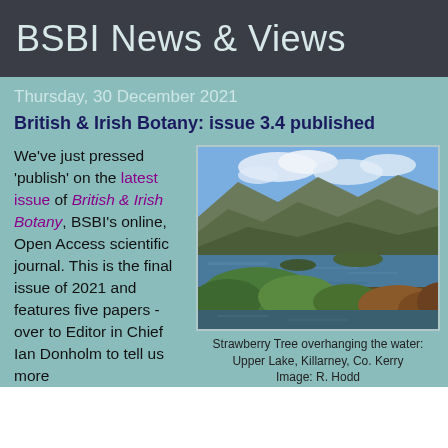BSBI News & Views
Thursday, 30 December 2021
British & Irish Botany: issue 3.4 published
We've just pressed 'publish' on the latest issue of British & Irish Botany, BSBI's online, Open Access scientific journal. This is the final issue of 2021 and features five papers - over to Editor in Chief Ian Donholm to tell us more
[Figure (photo): Landscape photo of Strawberry Tree overhanging the water at Upper Lake, Killarney, Co. Kerry]
Strawberry Tree overhanging the water: Upper Lake, Killarney, Co. Kerry Image: R. Hodd